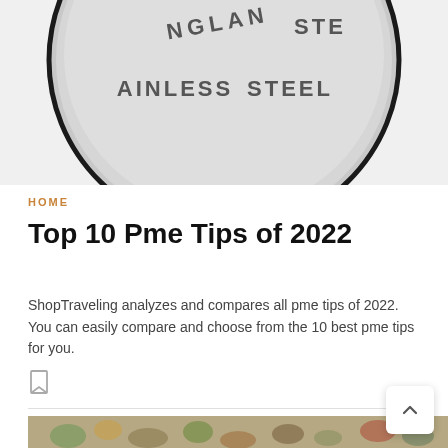[Figure (photo): Close-up photo of a round stainless steel coin or disc with engraved text reading 'ENGLAND STAINLESS STEEL' around the top edge, partially visible at top of page.]
HOME
Top 10 Pme Tips of 2022
ShopTraveling analyzes and compares all pme tips of 2022. You can easily compare and choose from the 10 best pme tips for you.
[Figure (photo): Partial view of a floral fabric or tapestry with colorful flower and leaf pattern on a beige/green background, visible at the bottom of the page.]